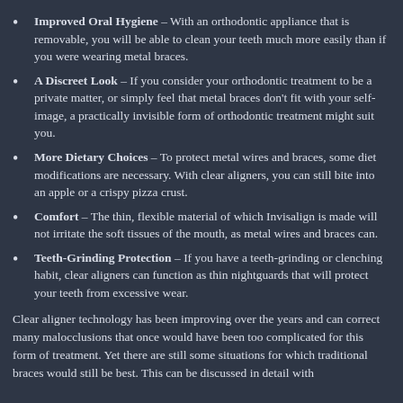Improved Oral Hygiene – With an orthodontic appliance that is removable, you will be able to clean your teeth much more easily than if you were wearing metal braces.
A Discreet Look – If you consider your orthodontic treatment to be a private matter, or simply feel that metal braces don't fit with your self-image, a practically invisible form of orthodontic treatment might suit you.
More Dietary Choices – To protect metal wires and braces, some diet modifications are necessary. With clear aligners, you can still bite into an apple or a crispy pizza crust.
Comfort – The thin, flexible material of which Invisalign is made will not irritate the soft tissues of the mouth, as metal wires and braces can.
Teeth-Grinding Protection – If you have a teeth-grinding or clenching habit, clear aligners can function as thin nightguards that will protect your teeth from excessive wear.
Clear aligner technology has been improving over the years and can correct many malocclusions that once would have been too complicated for this form of treatment. Yet there are still some situations for which traditional braces would still be best. This can be discussed in detail with